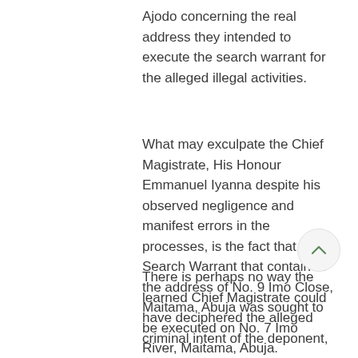Ajodo concerning the real address they intended to execute the search warrant for the alleged illegal activities.
What may exculpate the Chief Magistrate, His Honour Emmanuel Iyanna despite his observed negligence and manifest errors in the processes, is the fact that the Search Warrant that contained the address of No. 9 Imo Close, Maitama, Abuja was sought to be executed on No. 7 Imo River, Maitama, Abuja.
There is perhaps no way the learned Chief Magistrate could have deciphered the alleged criminal intent of the deponent,